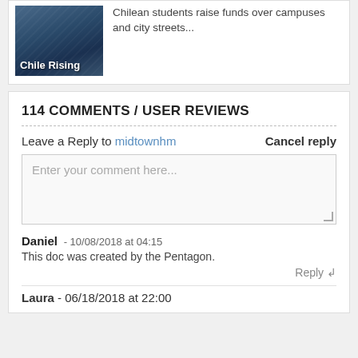[Figure (photo): Thumbnail image labeled 'Chile Rising' showing a scene with people and city streets]
Chilean students raise funds over campuses and city streets...
114 COMMENTS / USER REVIEWS
Leave a Reply to midtownhm   Cancel reply
Enter your comment here...
Daniel - 10/08/2018 at 04:15
This doc was created by the Pentagon.
Reply
Laura - 06/18/2018 at 22:00